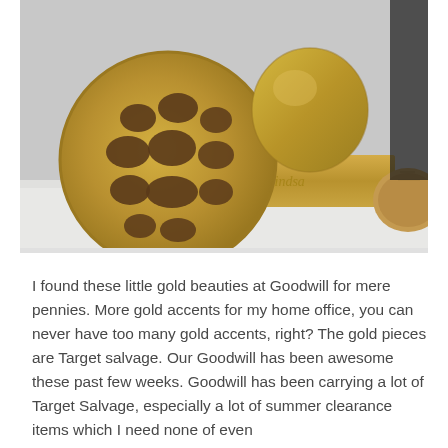[Figure (photo): Three gold decorative objects on a white marble surface: a large gold lotus seed pod head (circular, flat, with oval holes), a small round gold vase, and a gold-colored book with cursive text on the spine, with a wooden round object partially visible on the right.]
I found these little gold beauties at Goodwill for mere pennies. More gold accents for my home office, you can never have too many gold accents, right?  The gold pieces are Target salvage.  Our Goodwill has been awesome these past few weeks.  Goodwill has been carrying a lot of Target Salvage, especially a lot of summer clearance items which I need none of even